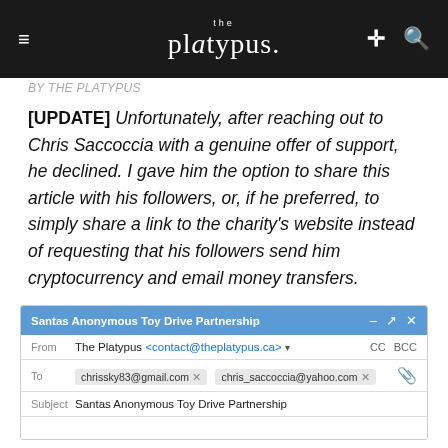the platypus.
[UPDATE] Unfortunately, after reaching out to Chris Saccoccia with a genuine offer of support, he declined. I gave him the option to share this article with his followers, or, if he preferred, to simply share a link to the charity’s website instead of requesting that his followers send him cryptocurrency and email money transfers.
[Figure (screenshot): Email compose window showing an email to chrisssky83@gmail.com and chris_saccoccia@yahoo.com with subject 'Santas Anonymous Toy Drive Partnership' from The Platypus <contact@theplatypus.ca>]